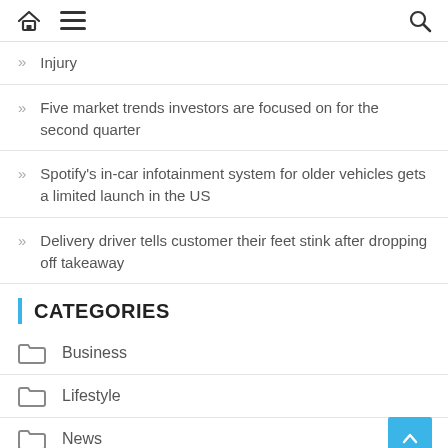Home | Menu | Search
Injury
Five market trends investors are focused on for the second quarter
Spotify's in-car infotainment system for older vehicles gets a limited launch in the US
Delivery driver tells customer their feet stink after dropping off takeaway
CATEGORIES
Business
Lifestyle
News
Sport